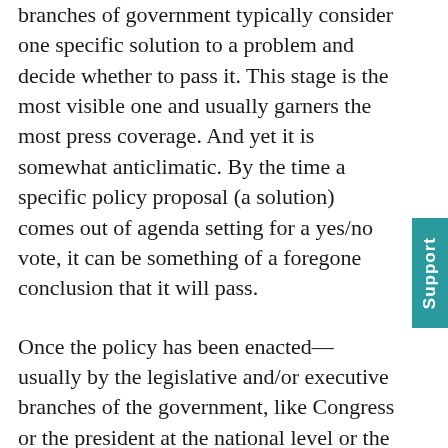branches of government typically consider one specific solution to a problem and decide whether to pass it. This stage is the most visible one and usually garners the most press coverage. And yet it is somewhat anticlimatic. By the time a specific policy proposal (a solution) comes out of agenda setting for a yes/no vote, it can be something of a foregone conclusion that it will pass.
Once the policy has been enacted—usually by the legislative and/or executive branches of the government, like Congress or the president at the national level or the legislature or governor of a state—government agencies do the work of actually implementing it. On a national level, policy implementation can be either top-down or bottom-up. In top-down implementation, the federal government dictates the specifics of the policy, and each state implements it the same exact way. In bottom-up implementation, the federal government